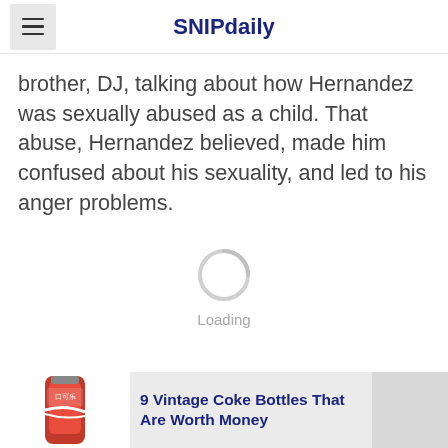SNIPdaily
brother, DJ, talking about how Hernandez was sexually abused as a child. That abuse, Hernandez believed, made him confused about his sexuality, and led to his anger problems.
[Figure (other): Loading spinner circle with 'Loading' text below]
[Figure (photo): Coca-Cola vintage bottle with Chinese text on label]
9 Vintage Coke Bottles That Are Worth Money